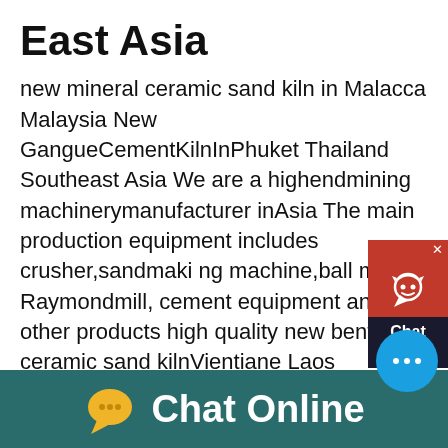East Asia
new mineral ceramic sand kiln in Malacca Malaysia New GangueCementKilnInPhuket Thailand Southeast Asia We are a highendmining machinerymanufacturer inAsia The main production equipment includes crusher,sandmaking machine,ball mill, Raymondmill, cement equipment and other products high quality new bentonite ceramic sand kilnVientiane Laos Southeast Asia new pottery feldsparceramic sand kiln,largepotteryfeldspar ball millin Tonga OceaniaBall millscan be used to further break down or refine a single material or you can place multiple materials into aball mill jarto mix as you pulverize the very common industrial solution for mixing glazes that require the smallest of mesh sizes Ball mills basically functionBandung largo quartz ceramic sand kiln for sale
[Figure (screenshot): Chat Now widget in top right corner with red background, headphone icon, and dark label reading Chat Now]
[Figure (screenshot): Blue circular messenger chat bubble with ellipsis icon]
[Figure (screenshot): Bottom bar with teal background, yellow chat bubble icon, and white text reading Chat Online]